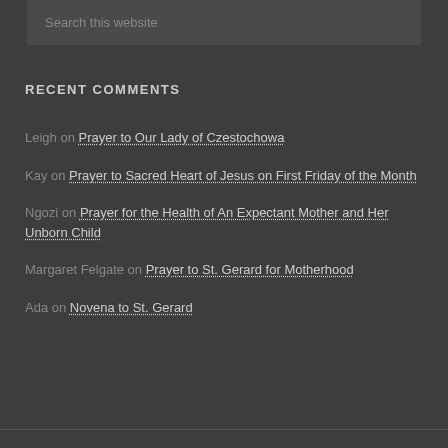Search this website
RECENT COMMENTS
Leigh on Prayer to Our Lady of Czestochowa
Kay on Prayer to Sacred Heart of Jesus on First Friday of the Month
Ngozi on Prayer for the Health of An Expectant Mother and Her Unborn Child
Margaret Felgate on Prayer to St. Gerard for Motherhood
Ada on Novena to St. Gerard